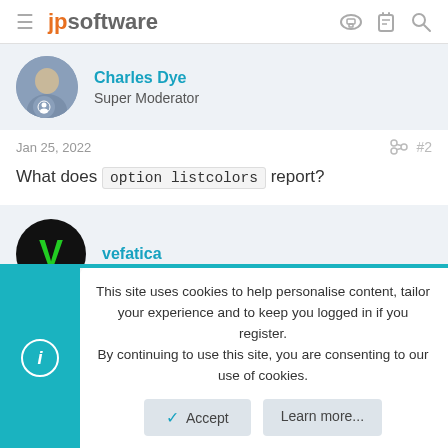jpsoftware
Charles Dye
Super Moderator
Jan 25, 2022  #2
What does option listcolors report?
vefatica
This site uses cookies to help personalise content, tailor your experience and to keep you logged in if you register. By continuing to use this site, you are consenting to our use of cookies.